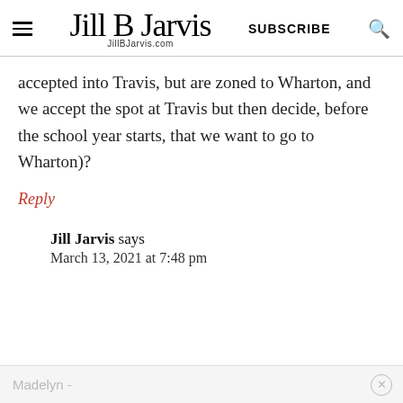Jill B Jarvis | JillBJarvis.com | SUBSCRIBE
accepted into Travis, but are zoned to Wharton, and we accept the spot at Travis but then decide, before the school year starts, that we want to go to Wharton)?
Reply
Jill Jarvis says
March 13, 2021 at 7:48 pm
Madelyn -